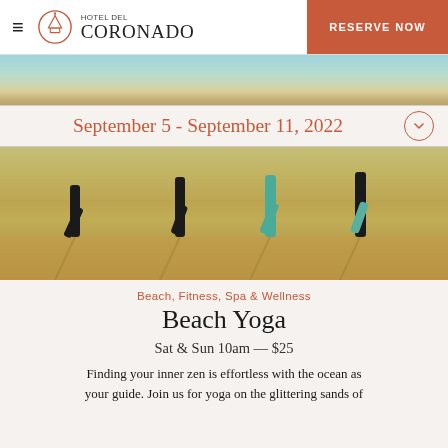Hotel del Coronado — RESERVE NOW
[Figure (photo): Partial beach scene photo strip at top of page, warm tones]
September 5 - September 11, 2022
[Figure (photo): People doing tree pose yoga on the beach, warm sandy tones, silhouetted legs visible]
Beach, Fitness, Spa & Wellness
Beach Yoga
Sat & Sun 10am — $25
Finding your inner zen is effortless with the ocean as your guide. Join us for yoga on the glittering sands of